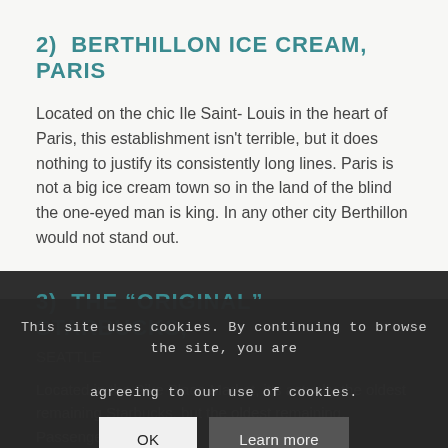2)  BERTHILLON ICE CREAM, PARIS
Located on the chic Ile Saint- Louis in the heart of Paris, this establishment isn't terrible, but it does nothing to justify its consistently long lines. Paris is not a big ice cream town so in the land of the blind the one-eyed man is king. In any other city Berthillon would not stand out.
3)  THE “ORIGINAL” STARBUCKS,
Located in the Pike Place Market, it’s actually the oldest remaining Starbucks, but the oldest remaining. Passengers disgorge
This site uses cookies. By continuing to browse the site, you are agreeing to our use of cookies.